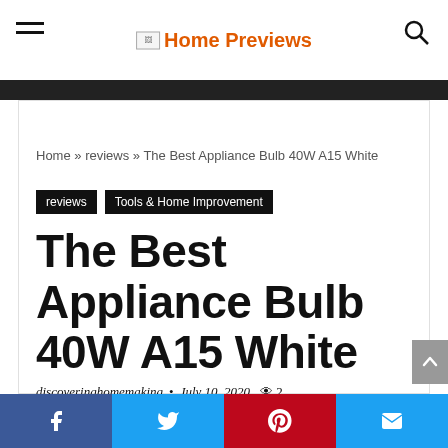Home Previews
Home » reviews » The Best Appliance Bulb 40W A15 White
reviews   Tools & Home Improvement
The Best Appliance Bulb 40W A15 White
discoveringhomemaking  •  July 10, 2020  👁 2  💬
Facebook  Twitter  Pinterest  Email